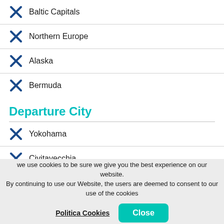Baltic Capitals
Northern Europe
Alaska
Bermuda
Departure City
Yokohama
Civitavecchia
Dubai
Miami
we use cookies to be sure we give you the best experience on our website. By continuing to use our Website, the users are deemed to consent to our use of the cookies
Politica Cookies
Close